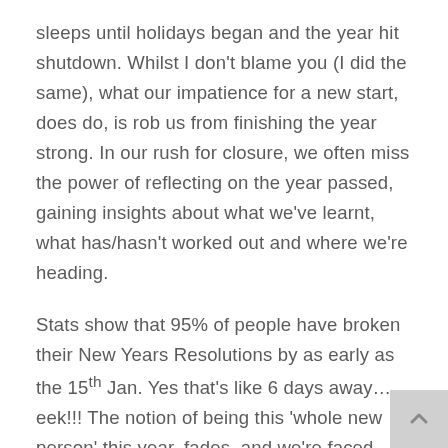sleeps until holidays began and the year hit shutdown. Whilst I don't blame you (I did the same), what our impatience for a new start, does do, is rob us from finishing the year strong. In our rush for closure, we often miss the power of reflecting on the year passed, gaining insights about what we've learnt, what has/hasn't worked out and where we're heading.
Stats show that 95% of people have broken their New Years Resolutions by as early as the 15th Jan. Yes that's like 6 days away…eek!!! The notion of being this 'whole new person' this year, fades, and we're faced with the reality of who we are.
I have thought long and hard over this, the reality that as much as we long for a fresh start, we often fail at it